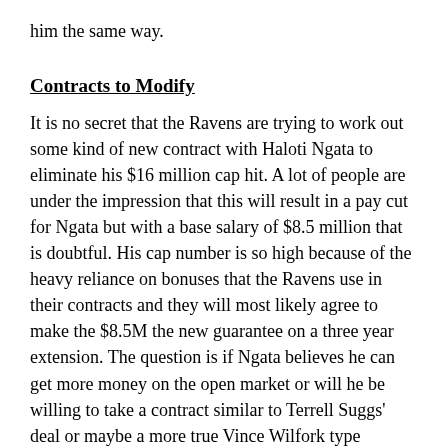him the same way.
Contracts to Modify
It is no secret that the Ravens are trying to work out some kind of new contract with Haloti Ngata to eliminate his $16 million cap hit. A lot of people are under the impression that this will result in a pay cut for Ngata but with a base salary of $8.5 million that is doubtful. His cap number is so high because of the heavy reliance on bonuses that the Ravens use in their contracts and they will most likely agree to make the $8.5M the new guarantee on a three year extension. The question is if Ngata believes he can get more money on the open market or will he be willing to take a contract similar to Terrell Suggs' deal or maybe a more true Vince Wilfork type contract?  Since the $7.5 million proration is a sunk cost they could cut him for immediate cap relief while still working on a new deal...The contract the Ravens signed with Lardarius Webb was one of the last head scratchers at the position before the pull back in money for mid tier